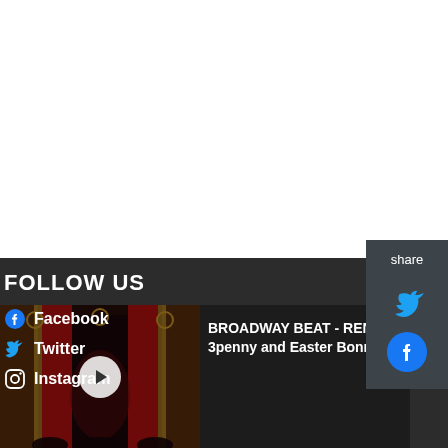[Figure (screenshot): White content area, upper portion of webpage]
share
[Figure (screenshot): Twitter bird icon (blue) for sharing]
[Figure (screenshot): Facebook icon (blue circle with f) for sharing]
FOLLOW US
Facebook
Twitter
Instagram
[Figure (screenshot): Theater stage thumbnail with red curtains and dim lighting, video play button overlay]
BROADWAY BEAT - RENT, 3penny and Easter Bonnet